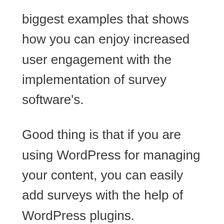biggest examples that shows how you can enjoy increased user engagement with the implementation of survey software's.
Good thing is that if you are using WordPress for managing your content, you can easily add surveys with the help of WordPress plugins.
Best Survey Software For Your WordPress Site